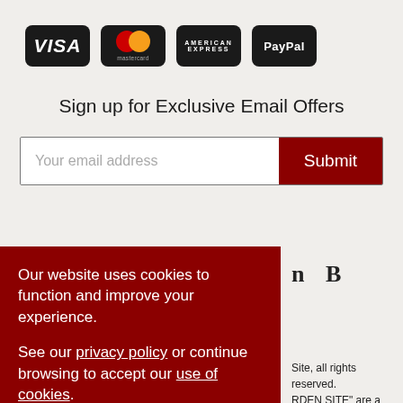[Figure (infographic): Four payment method icons: VISA, Mastercard, American Express, PayPal — each on a dark rounded rectangle background]
Sign up for Exclusive Email Offers
[Figure (screenshot): Email address input field with placeholder 'Your email address' and a dark red Submit button]
Our website uses cookies to function and improve your experience.
See our privacy policy or continue browsing to accept our use of cookies.
[Figure (screenshot): Accept & Close button (white border, dark red background) in cookie consent overlay]
n   B
Site, all rights reserved.
RDen SITE" are a registered
AT No: GB 109 6996 27.